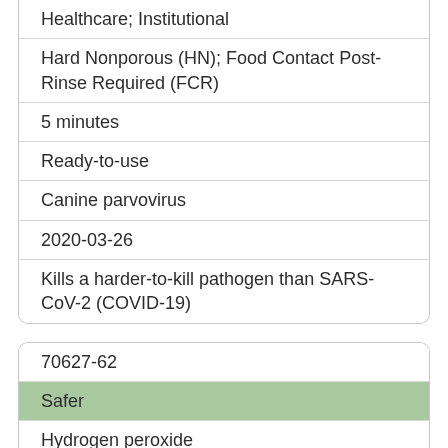| Healthcare; Institutional |
| Hard Nonporous (HN); Food Contact Post-Rinse Required (FCR) |
| 5 minutes |
| Ready-to-use |
| Canine parvovirus |
| 2020-03-26 |
| Kills a harder-to-kill pathogen than SARS-CoV-2 (COVID-19) |
| 70627-62 |
| Safer |
| Hydrogen peroxide |
| Phato 1:64 Disinfectant Cleaner |
| Diversey Inc |
| Healthcare; Institutional |
| Hard Nonporous (HN) |
| 5 minutes |